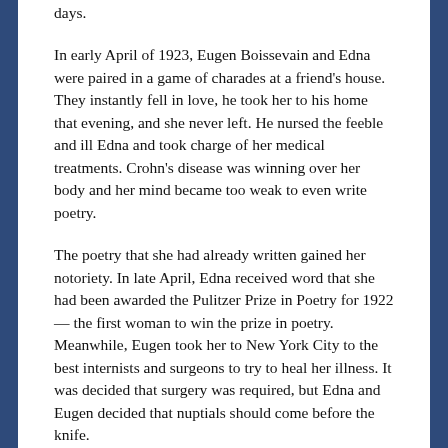days.
In early April of 1923, Eugen Boissevain and Edna were paired in a game of charades at a friend's house. They instantly fell in love, he took her to his home that evening, and she never left. He nursed the feeble and ill Edna and took charge of her medical treatments. Crohn's disease was winning over her body and her mind became too weak to even write poetry.
The poetry that she had already written gained her notoriety. In late April, Edna received word that she had been awarded the Pulitzer Prize in Poetry for 1922 — the first woman to win the prize in poetry. Meanwhile, Eugen took her to New York City to the best internists and surgeons to try to heal her illness. It was decided that surgery was required, but Edna and Eugen decided that nuptials should come before the knife.